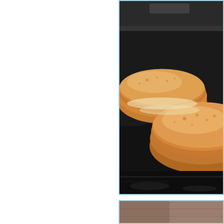[Figure (photo): Two golden-brown pancakes cooking on a dark griddle/skillet, close-up shot with shallow depth of field. The pancakes are fluffy and cooked to a golden color. Dark cooking surface visible beneath them.]
[Figure (photo): Partial view of what appears to be another food item or surface, brown/tan tones, cropped at the bottom of the page.]